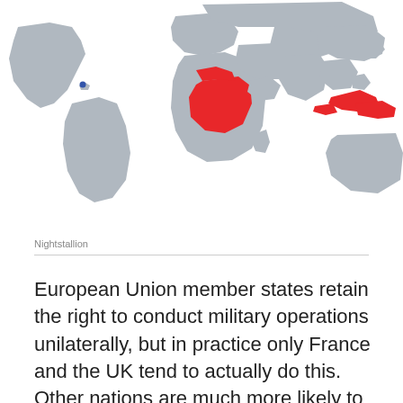[Figure (map): World map with countries highlighted in red (Central Africa and Indonesia/Southeast Asia region) and blue (small dot in Caribbean/Americas). Gray landmasses for other countries.]
Nightstallion
European Union member states retain the right to conduct military operations unilaterally, but in practice only France and the UK tend to actually do this. Other nations are much more likely to send troops abroad under the aegis of a larger NATO — or, increasingly, EU — mission. This map highlights all the countries that have experienced an official EU military intervention over the past 15 years. It includes a lot of peacekeeping operations in Africa, participation in postwar reconstruction efforts in